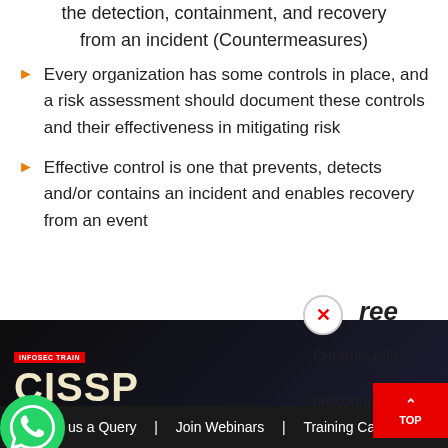the detection, containment, and recovery from an incident (Countermeasures)
Every organization has some controls in place, and a risk assessment should document these controls and their effectiveness in mitigating risk
Effective control is one that prevents, detects and/or contains an incident and enables recovery from an event
[Figure (screenshot): CISSP Domain 5 course advertisement banner showing instructor Manikandan, with INFOSEC TRAIN logo, Free Expert Master Classes badge, and WhatsApp contact icon]
Controls rela... procedures, es...
Drop us a Query  |  Join Webinars  |  Training Calendar